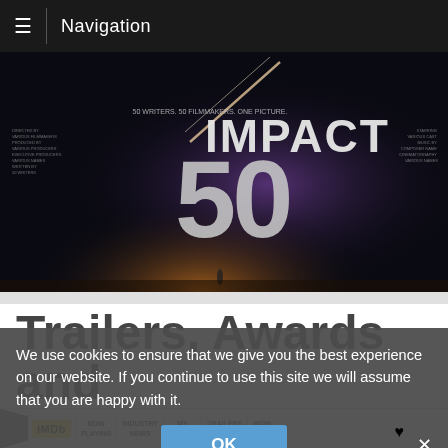Navigation
[Figure (photo): Movie poster for Impact 50 — dark background with large glowing '50' text and meteor impact scene, tagline '50 writers. 50 filmmakers. One picture']
Trailers, Awards and Festivals
By Chris Jones on October 3…
The Internet
We use cookies to ensure that we give you the best experience on our website. If you continue to use this site we will assume that you are happy with it.
[Figure (logo): IMDB logo with navigation bar showing: Now Playing, Industry News, My Movies, Trailers, IMDb TV]